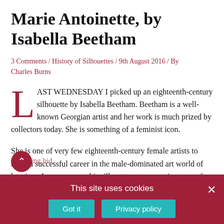Marie Antoinette, by Isabella Beetham
3 Comments / History of Silhouettes / 9th August 2016 / By Charles Burns
LAST WEDNESDAY I picked up an eighteenth-century silhouette by Isabella Beetham. Beetham is a well-known Georgian artist and her work is much prized by collectors today. She is something of a feminist icon.
She is one of very few eighteenth-century female artists to build a successful career in the male-dominated art world of her time. I came across this silhouettes at an auction, part of the estate of a well-known collector and art historian. I was lucky enough to place a winning bid.
Collecting silhouettes
This site uses cookies
Got it   Privacy policy